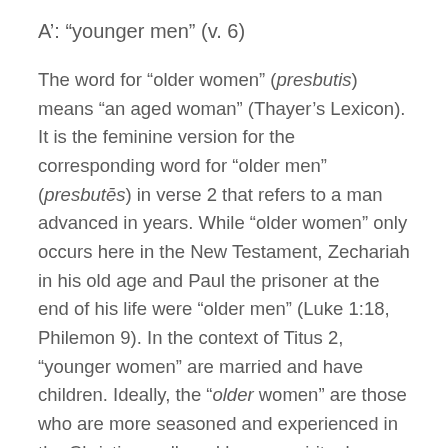A': “younger men” (v. 6)
The word for “older women” (presbutis) means “an aged woman” (Thayer’s Lexicon). It is the feminine version for the corresponding word for “older men” (presbutēs) in verse 2 that refers to a man advanced in years. While “older women” only occurs here in the New Testament, Zechariah in his old age and Paul the prisoner at the end of his life were “older men” (Luke 1:18, Philemon 9). In the context of Titus 2, “younger women” are married and have children. Ideally, the “older women” are those who are more seasoned and experienced in the Christian walk and have a spiritual maturity that comes with time. Thus they